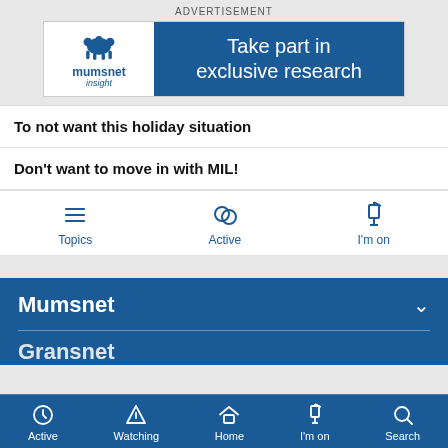[Figure (screenshot): Mumsnet Insight advertisement banner — logo on white left side, 'Take part in exclusive research' on blue right side]
To not want this holiday situation
Don't want to move in with MIL!
[Figure (infographic): Navigation tabs: Topics (hamburger icon), Active (chat icon), I'm on (pin icon)]
Mumsnet
Gransnet
[Figure (infographic): Bottom navigation bar: Active, Watching, Home, I'm on, Search]